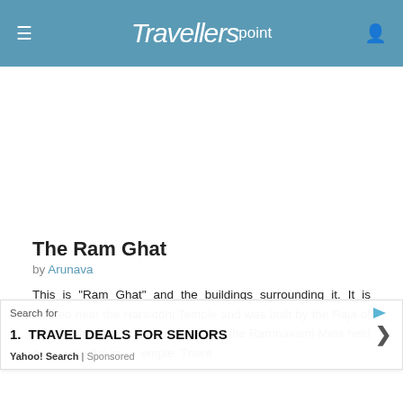Travellerspoint
[Figure (other): White empty space placeholder/ad area]
The Ram Ghat
by Arunava
This is "Ram Ghat" and the buildings surrounding it. It is located near the Harsiddhi Temple and was built by the Raja of Jaipur. The ghat comes alive during the Ramnavami Mela held o... in the m... emple. There...